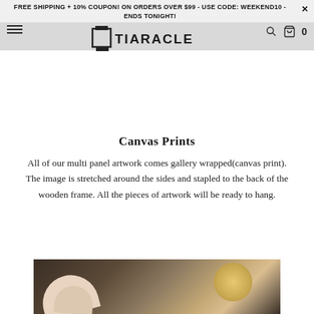FREE SHIPPING + 10% COUPON! ON ORDERS OVER $99 - USE CODE: WEEKEND10 - ENDS TONIGHT!
[Figure (logo): Tiaracle logo with icon and text nav bar with hamburger menu, search icon, and cart icon showing 0]
Canvas Prints
All of our multi panel artwork comes gallery wrapped(canvas print).  The image is stretched around the sides and stapled to the back of the wooden frame.  All the pieces of artwork will be ready to hang.
[Figure (photo): Photo showing hands working on canvas print with wooden frame and circular golden element in background]